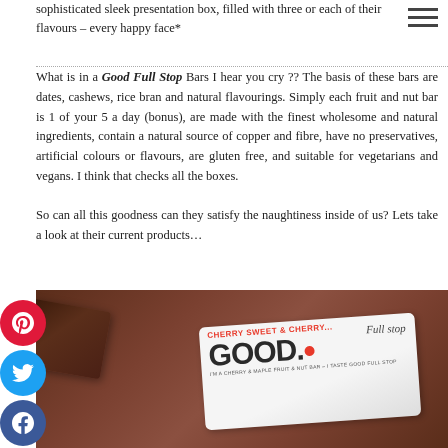sophisticated sleek presentation box, filled with three or each of their flavours – every happy face*
What is in a Good Full Stop Bars I hear you cry ?? The basis of these bars are dates, cashews, rice bran and natural flavourings. Simply each fruit and nut bar is 1 of your 5 a day (bonus), are made with the finest wholesome and natural ingredients, contain a natural source of copper and fibre, have no preservatives, artificial colours or flavours, are gluten free, and suitable for vegetarians and vegans. I think that checks all the boxes.
So can all this goodness can they satisfy the naughtiness inside of us? Lets take a look at their current products…
[Figure (photo): A Good Full Stop Cherry & Maple fruit and nut bar packaging with chocolate bar pieces, on a dark brown background. The wrapper reads 'CHERRY SWEET & CHERRY...' in red and 'GOOD.' in large dark letters with a red dot, and 'Full stop' in handwritten style.]